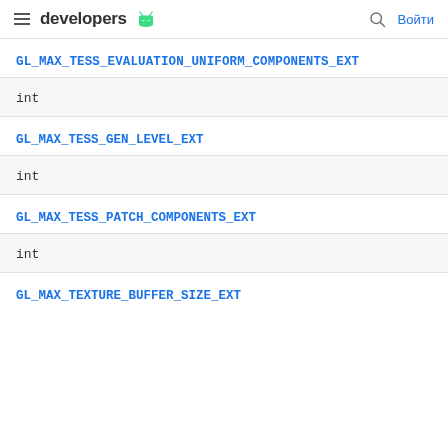developers [android icon] Войти
GL_MAX_TESS_EVALUATION_UNIFORM_COMPONENTS_EXT
int
GL_MAX_TESS_GEN_LEVEL_EXT
int
GL_MAX_TESS_PATCH_COMPONENTS_EXT
int
GL_MAX_TEXTURE_BUFFER_SIZE_EXT